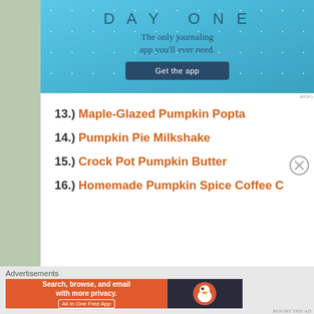[Figure (screenshot): Day One journaling app advertisement banner with blue starry background, app name, tagline 'The only journaling app you'll ever need.' and a 'Get the app' button]
13.) Maple-Glazed Pumpkin Popta...
14.) Pumpkin Pie Milkshake
15.) Crock Pot Pumpkin Butter
16.) Homemade Pumpkin Spice Coffee C...
Advertisements
[Figure (screenshot): DuckDuckGo advertisement banner: orange section with text 'Search, browse, and email with more privacy. All in One Free App' and dark section with DuckDuckGo logo duck]